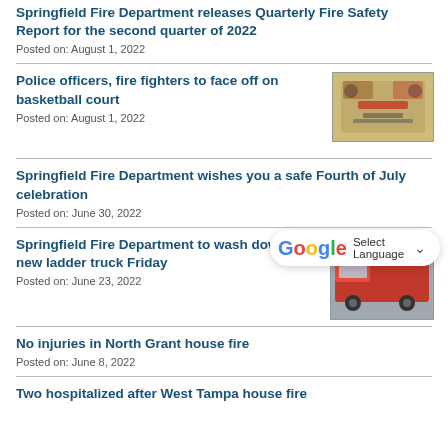Springfield Fire Department releases Quarterly Fire Safety Report for the second quarter of 2022
Posted on: August 1, 2022
Police officers, fire fighters to face off on basketball court
Posted on: August 1, 2022
[Figure (photo): Event flyer for police vs fire fighters basketball game]
[Figure (screenshot): Google Translate Select Language widget]
Springfield Fire Department wishes you a safe Fourth of July celebration
Posted on: June 30, 2022
Springfield Fire Department to wash down new ladder truck Friday
Posted on: June 23, 2022
[Figure (photo): Photo of a red fire ladder truck inside a building]
No injuries in North Grant house fire
Posted on: June 8, 2022
Two hospitalized after West Tampa house fire